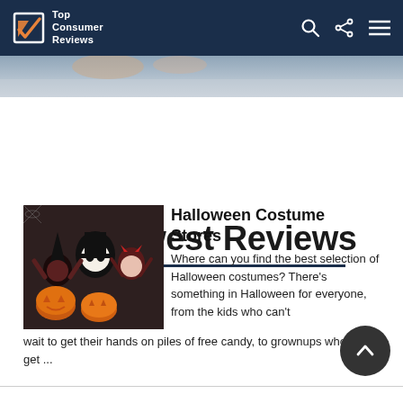Top Consumer Reviews
Newest Reviews
Halloween Costume Stores
Where can you find the best selection of Halloween costumes? There's something in Halloween for everyone, from the kids who can't wait to get their hands on piles of free candy, to grownups who get ...